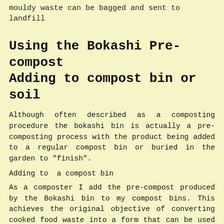mouldy waste can be bagged and sent to landfill
Using the Bokashi Pre-compost Adding to compost bin or soil
Although often described as a composting procedure the bokashi bin is actually a pre-composting process with the product being added to a regular compost bin or buried in the garden to "finish".
Adding to  a compost bin
As a composter I add the pre-compost produced by the Bokashi bin to my compost bins. This achieves the original objective of converting cooked food waste into a form that can be used as a soil improver at home in a without attracting vermin. I prefer this to burying the pre-compost directly in the soil as I use my Bokashi at home and having limited space do not have room for a trench and I lose track